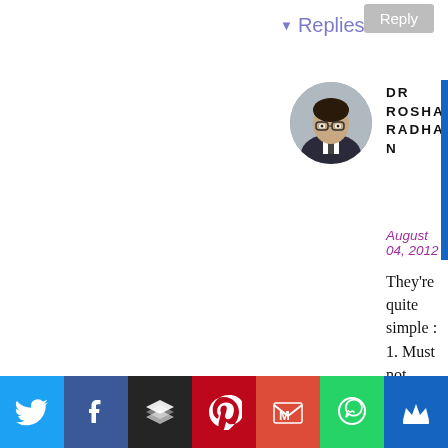▼ Replies
[Figure (photo): Circular avatar photo of Dr. Roshan Radhakrishnan, a man in a dark suit]
DR ROSHAN RADHAKRISHNAN
August 04, 2012
They're quite simple : 1. Must not know karate/kung fu or any other martial art capable of doing bodily harm to me.. I mean, my
[Figure (infographic): Social sharing bar with icons: Twitter (blue), Facebook (dark blue), Buffer (black), Pinterest (red), Gmail (red), WhatsApp (green), Crown/royalty (blue)]